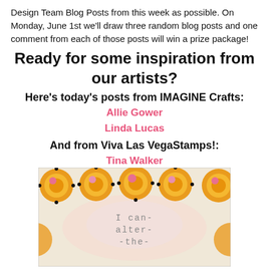Design Team Blog Posts from this week as possible. On Monday, June 1st we'll draw three random blog posts and one comment from each of those posts will win a prize package!
Ready for some inspiration from our artists?
Here's today's posts from IMAGINE Crafts:
Allie Gower
Linda Lucas
And from Viva Las VegaStamps!:
Tina Walker
[Figure (photo): A craft art piece showing decorative circular medallion designs in orange and gold at the top, with a light watercolor background and stamped text in the center reading 'I can-alter-the']